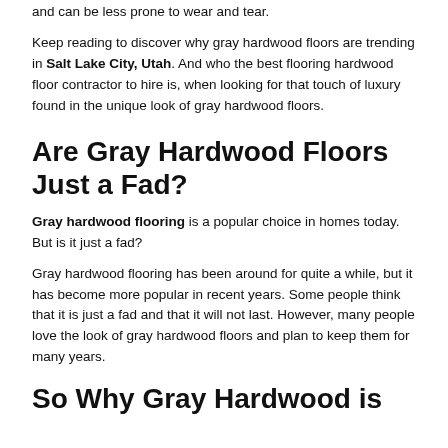and can be less prone to wear and tear.
Keep reading to discover why gray hardwood floors are trending in Salt Lake City, Utah. And who the best flooring hardwood floor contractor to hire is, when looking for that touch of luxury found in the unique look of gray hardwood floors.
Are Gray Hardwood Floors Just a Fad?
Gray hardwood flooring is a popular choice in homes today. But is it just a fad?
Gray hardwood flooring has been around for quite a while, but it has become more popular in recent years. Some people think that it is just a fad and that it will not last. However, many people love the look of gray hardwood floors and plan to keep them for many years.
So Why Gray Hardwood is...